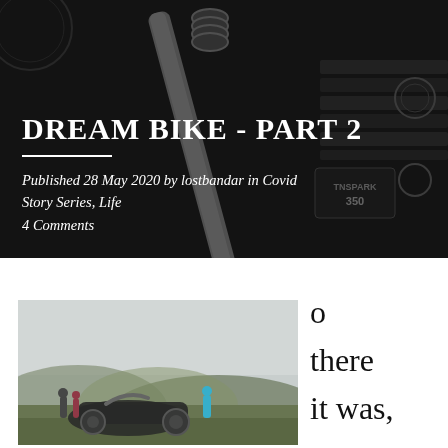DREAM BIKE - PART 2
Published 28 May 2020 by lostbandar in Covid Story Series, Life
4 Comments
[Figure (photo): Close-up photograph of a motorcycle engine, dark moody background, showing the engine block with 'TNSPARK 350' text visible on it, chrome kickstarter and other metal parts.]
[Figure (photo): Outdoor photograph of a motorcycle laid on green hillside with misty sky, three people standing nearby looking at the landscape.]
o there it was,